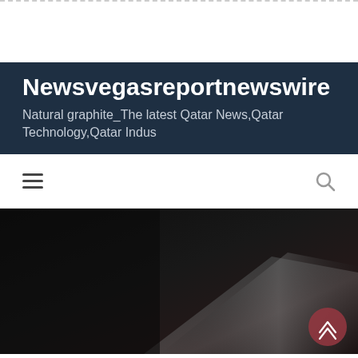Newsvegasreportnewswire
Natural graphite_The latest Qatar News,Qatar Technology,Qatar Indus
[Figure (screenshot): Navigation bar with hamburger menu icon on the left and search icon on the right against white background]
[Figure (photo): Dark close-up photo of graphite material with a dark reddish scroll-to-top button in the lower right corner]